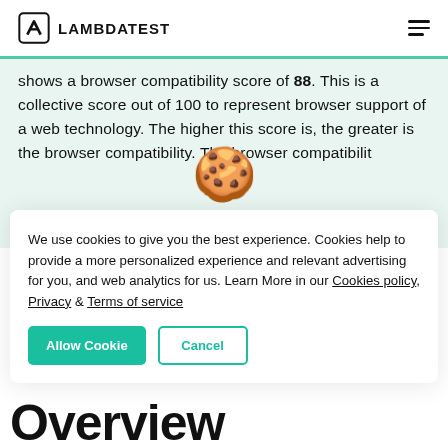LAMBDATEST
shows a browser compatibility score of 88. This is a collective score out of 100 to represent browser support of a web technology. The higher this score is, the greater is the browser compatibility. The browser compatibility score is not a 100%
[Figure (illustration): Cookie emoji (🍪) overlaid on the page content, indicating a cookie consent dialog]
We use cookies to give you the best experience. Cookies help to provide a more personalized experience and relevant advertising for you, and web analytics for us. Learn More in our Cookies policy, Privacy & Terms of service
Allow Cookie    Cancel
Overview